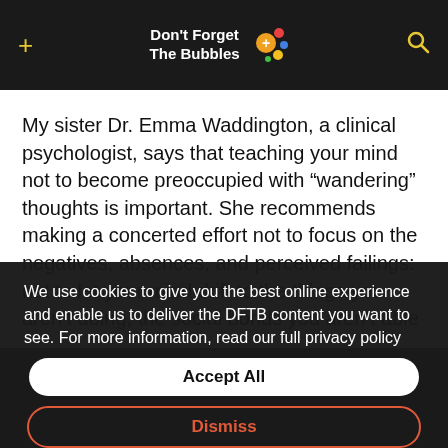Don't Forget The Bubbles
My sister Dr. Emma Waddington, a clinical psychologist, says that teaching your mind not to become preoccupied with “wandering” thoughts is important. She recommends making a concerted effort not to focus on the negatives, absences, and perceived failings: not to let your mind drift to the things you aren’t doing, the social bonds you aren’t able
We use cookies to give you the best online experience and enable us to deliver the DFTB content you want to see. For more information, read our full privacy policy here.
Accept All
Dismiss